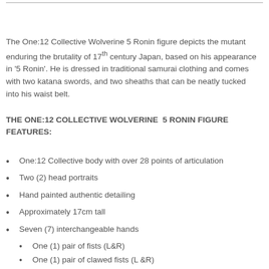The One:12 Collective Wolverine 5 Ronin figure depicts the mutant enduring the brutality of 17th century Japan, based on his appearance in '5 Ronin'. He is dressed in traditional samurai clothing and comes with two katana swords, and two sheaths that can be neatly tucked into his waist belt.
THE ONE:12 COLLECTIVE WOLVERINE 5 RONIN FIGURE FEATURES:
One:12 Collective body with over 28 points of articulation
Two (2) head portraits
Hand painted authentic detailing
Approximately 17cm tall
Seven (7) interchangeable hands
One (1) pair of fists (L&R)
One (1) pair of clawed fists (L&R)